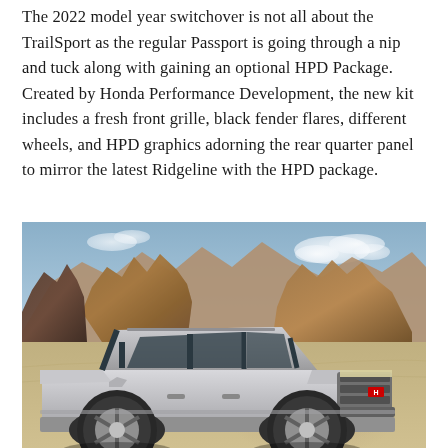The 2022 model year switchover is not all about the TrailSport as the regular Passport is going through a nip and tuck along with gaining an optional HPD Package. Created by Honda Performance Development, the new kit includes a fresh front grille, black fender flares, different wheels, and HPD graphics adorning the rear quarter panel to mirror the latest Ridgeline with the HPD package.
[Figure (photo): A silver Honda Passport SUV driving on a dirt road in a rocky desert landscape with mountains and a partly cloudy sky in the background, kicking up dust.]